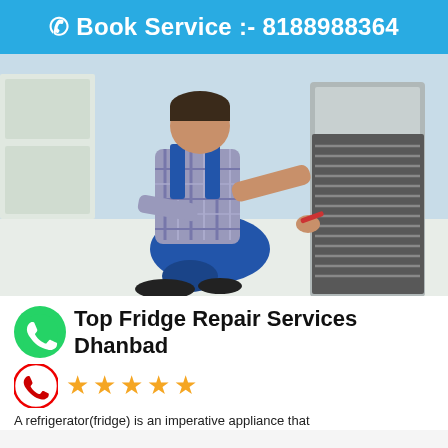Book Service :- 8188988364
[Figure (photo): A technician in blue overalls kneeling on the floor, working on the back of a refrigerator, repairing internal components with tools. Kitchen background visible.]
Top Fridge Repair Services Dhanbad
★★★★★ (5 star rating)
A refrigerator(fridge) is an imperative appliance that...